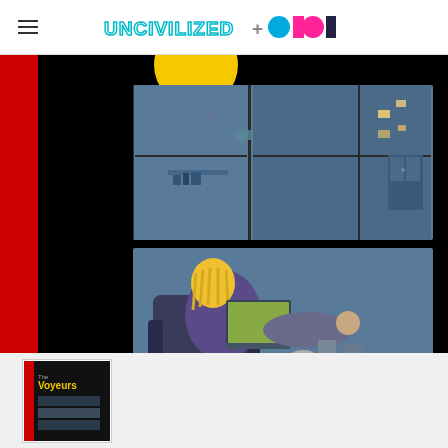UNCIVILIZED + ODOD (logo)
[Figure (illustration): Book cover illustration showing a person with blonde hair sitting in an armchair using a laptop in a dark room at night, viewed through windows. Black background with red spine bar on left. Text reads 'Introduction by Aaron Cometbus'.]
[Figure (photo): Thumbnail of book cover for 'The Voyeurs' showing the same cover artwork in miniature.]